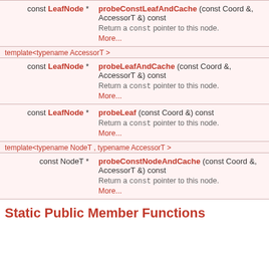| Return type | Function |
| --- | --- |
| const LeafNode * | probeConstLeafAndCache (const Coord &, AccessorT &) const
Return a const pointer to this node.
More... |
| template<typename AccessorT > |  |
| const LeafNode * | probeLeafAndCache (const Coord &, AccessorT &) const
Return a const pointer to this node.
More... |
| const LeafNode * | probeLeaf (const Coord &) const
Return a const pointer to this node.
More... |
| template<typename NodeT , typename AccessorT > |  |
| const NodeT * | probeConstNodeAndCache (const Coord &, AccessorT &) const
Return a const pointer to this node.
More... |
Static Public Member Functions